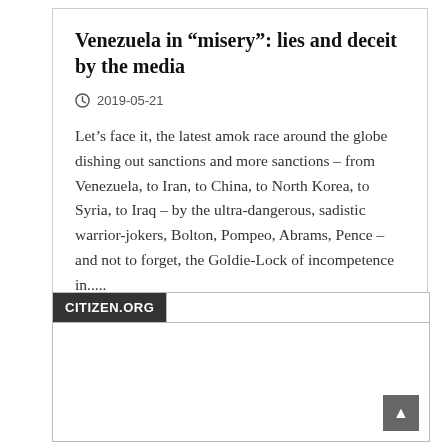Venezuela in “misery”: lies and deceit by the media
2019-05-21
Let’s face it, the latest amok race around the globe dishing out sanctions and more sanctions – from Venezuela, to Iran, to China, to North Korea, to Syria, to Iraq – by the ultra-dangerous, sadistic warrior-jokers, Bolton, Pompeo, Abrams, Pence – and not to forget, the Goldie-Lock of incompetence in.....
[Figure (screenshot): CITIZEN.ORG website panel with header bar showing logo label and empty content area below]